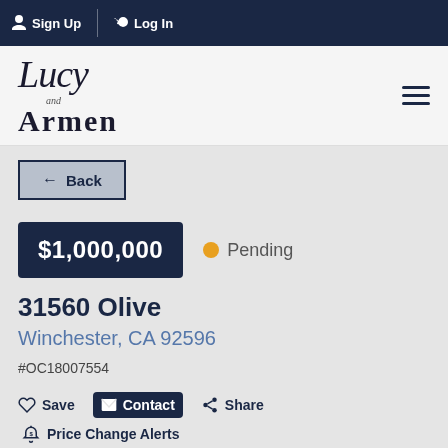Sign Up  Log In
[Figure (logo): Lucy and Armen real estate logo in script and serif fonts]
← Back
$1,000,000
● Pending
31560 Olive
Winchester, CA 92596
#OC18007554
Save  Contact  Share
Price Change Alerts